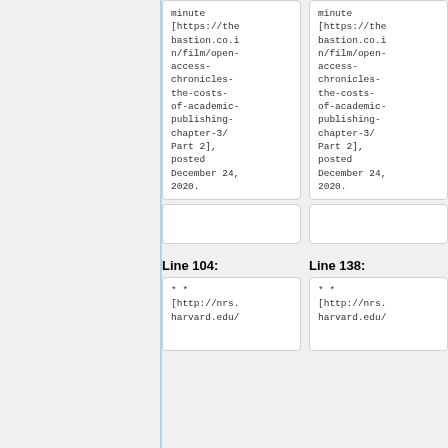minute [https://thebastion.co.in/film/open-access-chronicles-the-costs-of-academic-publishing-chapter-3/ Part 2], posted December 24, 2020.
minute [https://thebastion.co.in/film/open-access-chronicles-the-costs-of-academic-publishing-chapter-3/ Part 2], posted December 24, 2020.
Line 104:
Line 138:
** [http://nrs.harvard.edu/
** [http://nrs.harvard.edu/